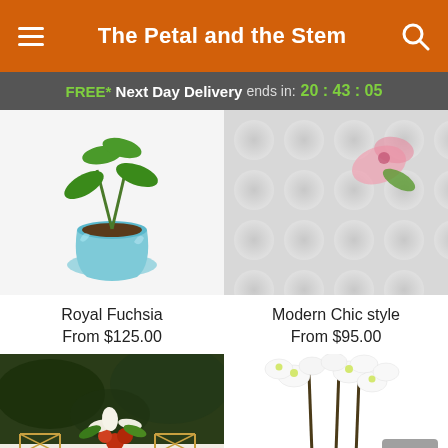The Petal and the Stem
FREE* Next Day Delivery ends in: 20 : 43 : 05
[Figure (photo): Potted orchid plant in iridescent metallic pot with green leaves]
Royal Fuchsia
From $125.00
[Figure (photo): Modern chic style floral arrangement against tufted grey sofa background with pink flowers]
Modern Chic style
From $95.00
[Figure (photo): Elegant floral table centerpiece with red roses and feathery white flowers on a festively decorated dining table]
[Figure (photo): White phalaenopsis orchid plant with tall stems and green leaves in pot]